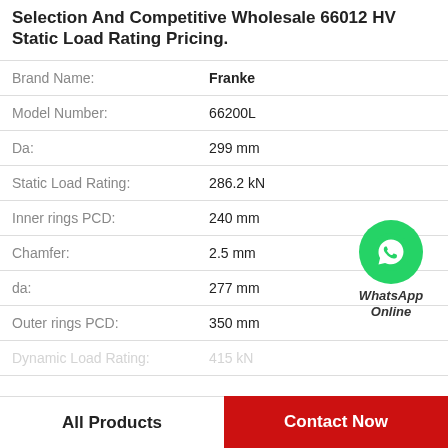Selection And Competitive Wholesale 66012 HV Static Load Rating Pricing.
| Field | Value |
| --- | --- |
| Brand Name: | Franke |
| Model Number: | 66200L |
| Da: | 299 mm |
| Static Load Rating: | 286.2 kN |
| Inner rings PCD: | 240 mm |
| Chamfer: | 2.5 mm |
| da: | 277 mm |
| Outer rings PCD: | 350 mm |
| Dynamic Load Rating: | 415 kN (partial) |
[Figure (logo): WhatsApp Online green circle icon with phone handset, labeled WhatsApp Online]
All Products
Contact Now